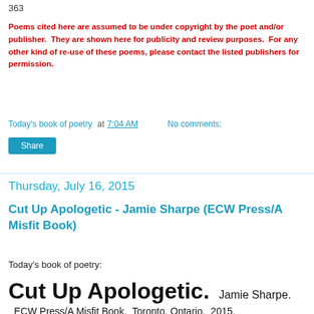363
Poems cited here are assumed to be under copyright by the poet and/or publisher.  They are shown here for publicity and review purposes.  For any other kind of re-use of these poems, please contact the listed publishers for permission.
Today's book of poetry at 7:04 AM    No comments:
Share
Thursday, July 16, 2015
Cut Up Apologetic - Jamie Sharpe (ECW Press/A Misfit Book)
Today's book of poetry:
Cut Up Apologetic.  Jamie Sharpe.  ECW Press/A Misfit Book.  Toronto, Ontario.  2015.